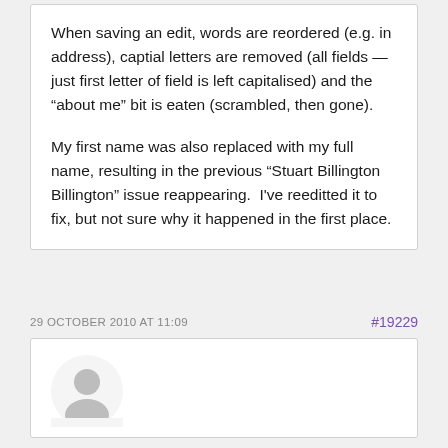When saving an edit, words are reordered (e.g. in address), captial letters are removed (all fields — just first letter of field is left capitalised) and the “about me” bit is eaten (scrambled, then gone).
My first name was also replaced with my full name, resulting in the previous “Stuart Billington Billington” issue reappearing.  I've reeditted it to fix, but not sure why it happened in the first place.
29 OCTOBER 2010 AT 11:09
#19229
[Figure (illustration): User avatar placeholder icon — gray circular silhouette of a person on white background]